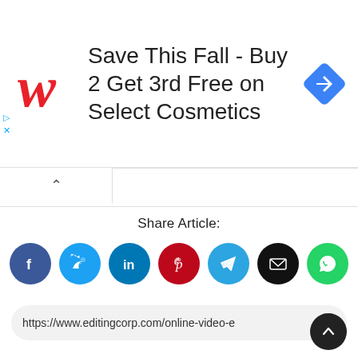[Figure (infographic): Walgreens advertisement banner: red cursive W logo on left, large text 'Save This Fall - Buy 2 Get 3rd Free on Select Cosmetics', blue diamond navigation icon on right. Small blue play and X icons on far left.]
Share Article:
[Figure (infographic): Row of 7 social share icon buttons: Facebook (dark blue), Twitter (cyan), LinkedIn (blue), Pinterest (red), Telegram (blue), Email (black), WhatsApp (green)]
https://www.editingcorp.com/online-video-e